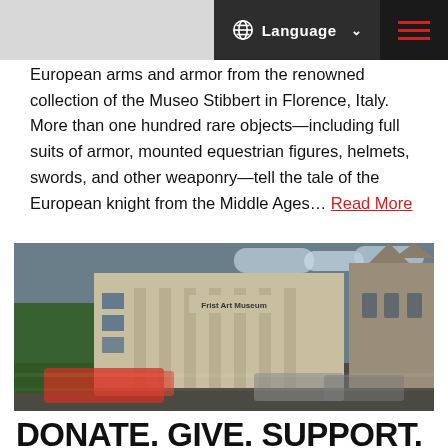Language ☰
European arms and armor from the renowned collection of the Museo Stibbert in Florence, Italy. More than one hundred rare objects—including full suits of armor, mounted equestrian figures, helmets, swords, and other weaponry—tell the tale of the European knight from the Middle Ages… Read More
[Figure (photo): Exterior photograph of the Frist Art Museum building with blurred cars passing in the foreground, trees on the left, and a gothic-style building on the right. The museum sign reads 'Frist Art Museum'.]
DONATE. GIVE. SUPPORT.
Please consider supporting the Frist Art Museum with a donation. Your gift is essential to our mission of serving